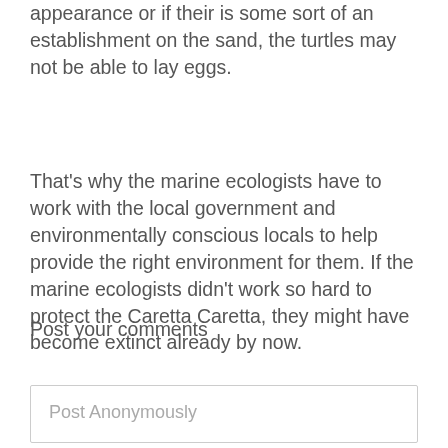appearance or if their is some sort of an establishment on the sand, the turtles may not be able to lay eggs.
That's why the marine ecologists have to work with the local government and environmentally conscious locals to help provide the right environment for them. If the marine ecologists didn't work so hard to protect the Caretta Caretta, they might have become extinct already by now.
Post your comments